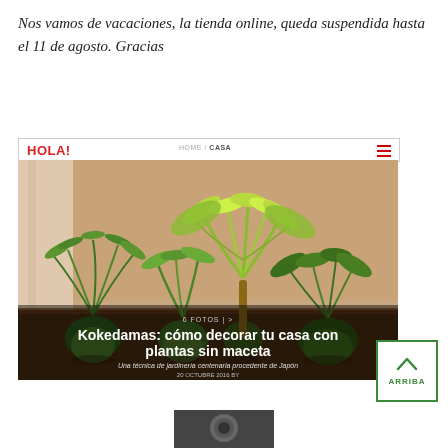Nos vamos de vacaciones, la tienda online, queda suspendida hasta el 11 de agosto. Gracias
[Figure (screenshot): Screenshot of HOLA! website showing an article about kokedamas with a photo of several plants in moss balls on a wooden surface. Navigation bar shows HOLA! logo in red, HOME / CASA breadcrumb. Article title reads: 'Kokedamas: cómo decorar tu casa con plantas sin maceta'. Subtitle: 'Una técnica de jardinería centenaria procedente de Japón'. Social sharing icons (Twitter, Facebook) visible.]
[Figure (logo): ARRIBA button - green bordered square with upward chevron arrow and text ARRIBA]
[Figure (photo): Partial bottom strip showing a dark image at the bottom of the page]